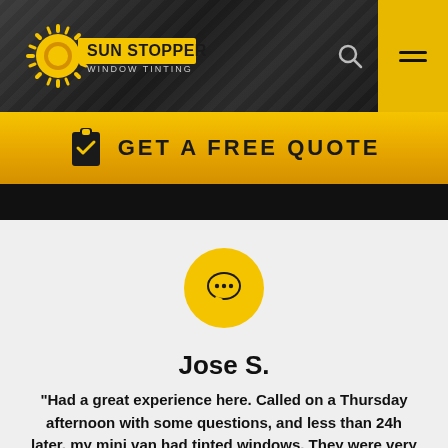[Figure (logo): Sun Stoppers Window Tinting logo with sun graphic on dark brushed-metal header background]
GET A FREE QUOTE
[Figure (infographic): Yellow speech bubble icon in a yellow circle, above a customer review]
Jose S.
“Had a great experience here. Called on a Thursday afternoon with some questions, and less than 24h later, my mini van had tinted windows. They were very clear in explaining the